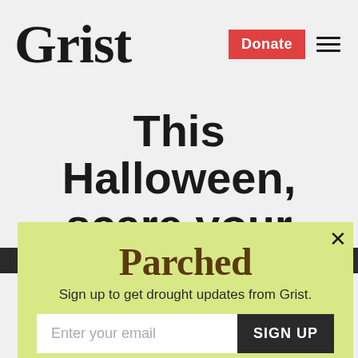Grist
This Halloween, scare your friends with some climate crisis
[Figure (screenshot): Popup newsletter signup overlay with yellow-green background. Title: Parched. Subtitle: Sign up to get drought updates from Grist. Email input field with SIGN UP button. No thanks link below.]